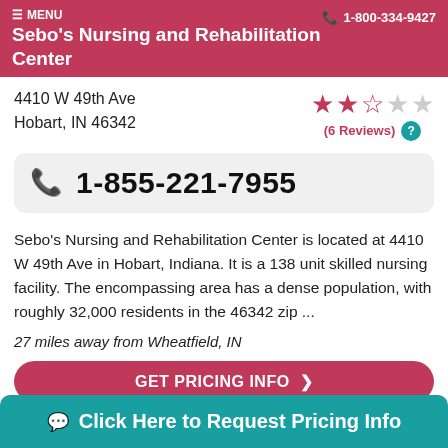MENU | Sebo's Nursing and Rehabilitation Center | 1-800-334-9427
4410 W 49th Ave
Hobart, IN 46342
[Figure (other): Star rating: 2.5 out of 5 stars, (6 Reviews) with info icon]
1-855-221-7955
Sebo's Nursing and Rehabilitation Center is located at 4410 W 49th Ave in Hobart, Indiana. It is a 138 unit skilled nursing facility. The encompassing area has a dense population, with roughly 32,000 residents in the 46342 zip ...
27 miles away from Wheatfield, IN
GET PRICING INFO >
Click Here to Request Pricing Info